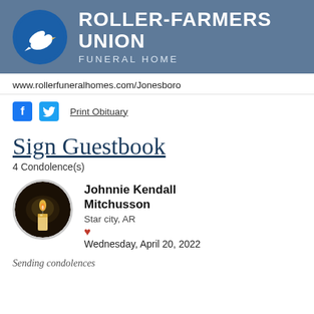[Figure (logo): Roller-Farmers Union Funeral Home logo with white dove on blue circle and text on steel blue banner background]
www.rollerfuneralhomes.com/Jonesboro
Print Obituary
Sign Guestbook
4 Condolence(s)
[Figure (photo): Circular photo of a lit candle with warm glow against dark background]
Johnnie Kendall Mitchusson
Star city, AR
Wednesday, April 20, 2022
Sending condolences